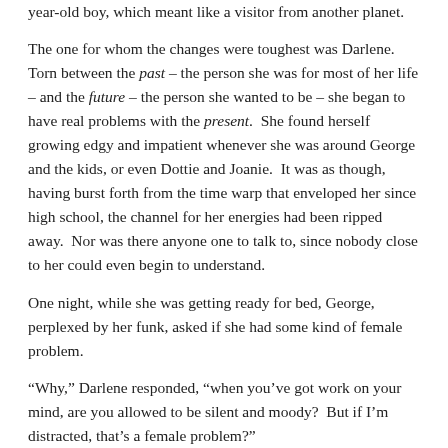year-old boy, which meant like a visitor from another planet.
The one for whom the changes were toughest was Darlene. Torn between the past – the person she was for most of her life – and the future – the person she wanted to be – she began to have real problems with the present.  She found herself growing edgy and impatient whenever she was around George and the kids, or even Dottie and Joanie.  It was as though, having burst forth from the time warp that enveloped her since high school, the channel for her energies had been ripped away.  Nor was there anyone one to talk to, since nobody close to her could even begin to understand.
One night, while she was getting ready for bed, George, perplexed by her funk, asked if she had some kind of female problem.
“Why,” Darlene responded, “when you’ve got work on your mind, are you allowed to be silent and moody?  But if I’m distracted, that’s a female problem?”
It wasn’t just her husband, however, who leaped to the conclusion that Darlene’s funk had to do with sex.  At the